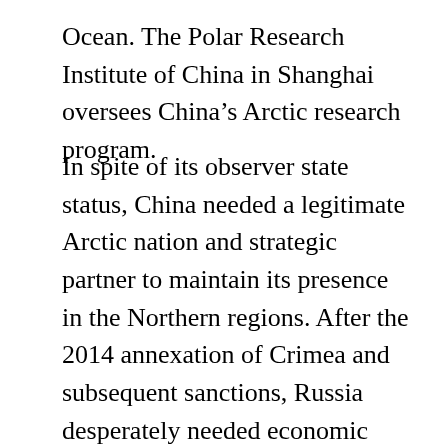Ocean. The Polar Research Institute of China in Shanghai oversees China's Arctic research program.
In spite of its observer state status, China needed a legitimate Arctic nation and strategic partner to maintain its presence in the Northern regions. After the 2014 annexation of Crimea and subsequent sanctions, Russia desperately needed economic support if it intended to maintain its enormous Arctic military along with its scientific and oil extraction expenditures. Therefore, China became a major stakeholder in Russian liquified natural gas assets, acquiring 20 percent stake in the Yamal Peninsula LNG plant through Russia's